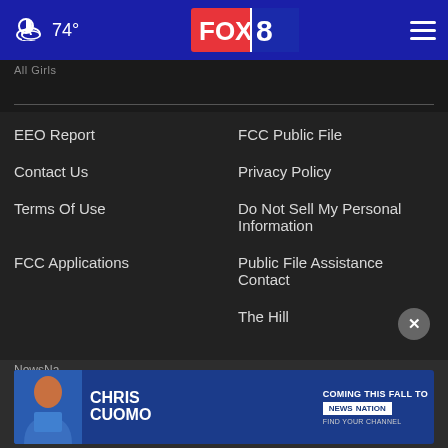FOX 8 — 74° weather header with hamburger menu
All Girls
EEO Report
FCC Public File
Contact Us
Privacy Policy
Terms Of Use
Do Not Sell My Personal Information
FCC Applications
Public File Assistance Contact
The Hill
NewsNa...
[Figure (screenshot): Chris Cuomo Coming This Fall To NewsNation advertisement banner]